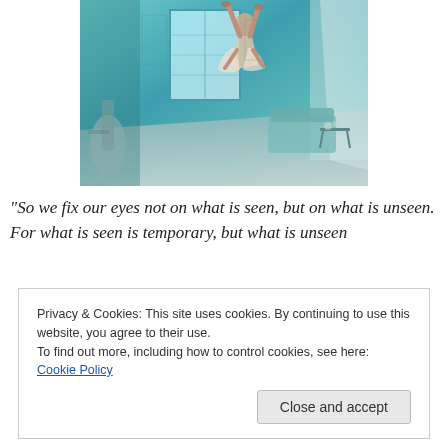[Figure (photo): A surreal photograph of a person appearing to float or fall upside-down in a teal/aqua-toned room with large windows, curtains, a sofa, and decorative furniture.]
“So we fix our eyes not on what is seen, but on what is unseen. For what is seen is temporary, but what is unseen
Privacy & Cookies: This site uses cookies. By continuing to use this website, you agree to their use.
To find out more, including how to control cookies, see here: Cookie Policy
Close and accept